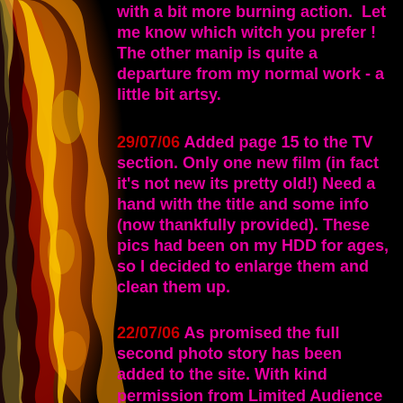[Figure (illustration): Flame/fire border on the left side of the page, golden-orange flames against black background]
with a bit more burning action. Let me know which witch you prefer ! The other manip is quite a departure from my normal work - a little bit artsy.
29/07/06 Added page 15 to the TV section. Only one new film (in fact it's not new its pretty old!) Need a hand with the title and some info (now thankfully provided). These pics had been on my HDD for ages, so I decided to enlarge them and clean them up.
22/07/06 As promised the full second photo story has been added to the site. With kind permission from Limited Audience you can see and read all about the tale of love, envy and revenge in this three part special. I hope you all enjoy it. I've also tied up a few loose links in the TV section. If you find any more, please report them back to me. It also passed me by that SD has now been around for over three years now, so hopefully this special gallery can